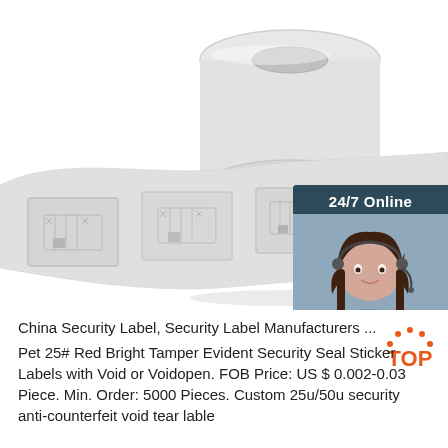[Figure (photo): A roll of white security label stickers (RFID/EAS tags on a roll), showing multiple square white labels. In the top-right corner is a '24/7 Online' chat widget with a photo of a woman wearing a headset, and buttons 'Click here for free chat!' and 'QUOTATION'.]
China Security Label, Security Label Manufacturers ...
Pet 25# Red Bright Tamper Evident Security Seal Sticker Labels with Void or Voidopen. FOB Price: US $ 0.002-0.03 Piece. Min. Order: 5000 Pieces. Custom 25u/50u security anti-counterfeit void tear lable